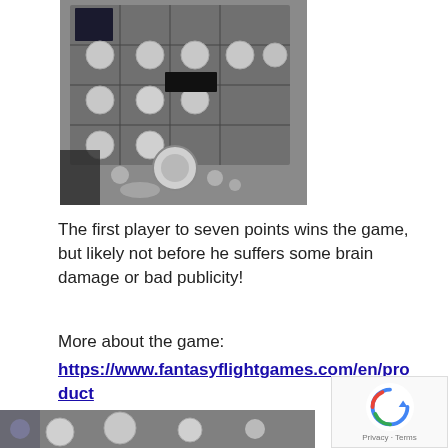[Figure (photo): Overhead photo of a board game in progress, showing cards and tokens on a dark surface, black and white/grayscale]
The first player to seven points wins the game, but likely not before he suffers some brain damage or bad publicity!
More about the game:
https://www.fantasyflightgames.com/en/products/android-netrunner-the-ca
[Figure (photo): Partial photo of another board game scene, grayscale, showing tokens and cards]